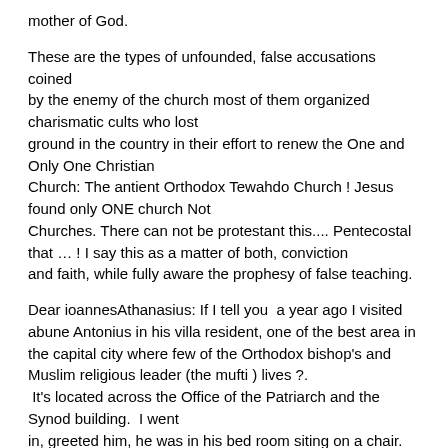mother of God.
These are the types of unfounded, false accusations coined by the enemy of the church most of them organized charismatic cults who lost ground in the country in their effort to renew the One and Only One Christian Church: The antient Orthodox Tewahdo Church ! Jesus found only ONE church Not Churches. There can not be protestant this.... Pentecostal that … !  I say this as a matter of both, conviction and faith, while fully aware the prophesy of false teaching.
Dear ioannesAthanasius: If I tell you  a year ago I visited abune Antonius in his villa resident, one of the best area in the capital city where few of the Orthodox bishop's and Muslim religious leader (the mufti ) lives ?. It's located across the Office of the Patriarch and the Synod building.  I went in, greeted him, he was in his bed room siting on a chair. There were few